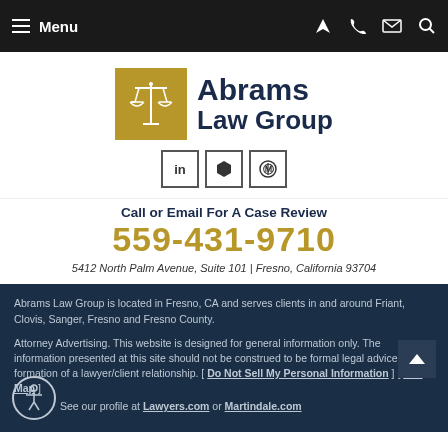Menu
[Figure (logo): Abrams Law Group logo with scales of justice icon on gold background]
Call or Email For A Case Review
559-431-9710
5412 North Palm Avenue, Suite 101 | Fresno, California 93704
Abrams Law Group is located in Fresno, CA and serves clients in and around Friant, Clovis, Sanger, Fresno and Fresno County.
Attorney Advertising. This website is designed for general information only. The information presented at this site should not be construed to be formal legal advice nor the formation of a lawyer/client relationship. [ Do Not Sell My Personal Information ] [ Site Map ]
See our profile at Lawyers.com or Martindale.com